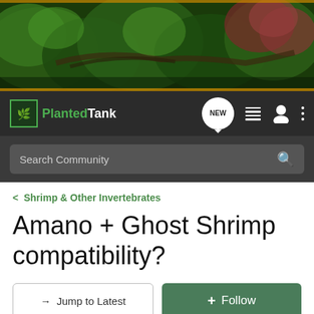[Figure (photo): Planted aquarium banner image showing lush green aquatic plants, driftwood, and red/pink plants against a dark background]
Planted Tank — NEW — menu icons — user icon — more options
Search Community
Shrimp & Other Invertebrates
Amano + Ghost Shrimp compatibility?
→ Jump to Latest
+ Follow
1 - 4 of 4 Posts